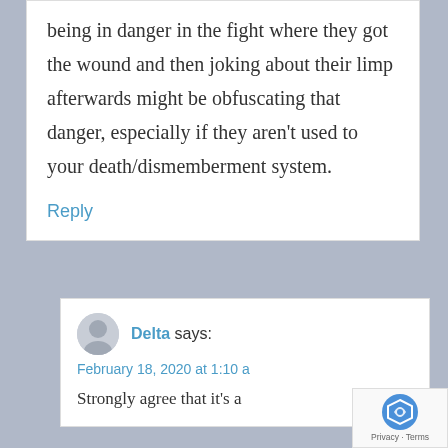being in danger in the fight where they got the wound and then joking about their limp afterwards might be obfuscating that danger, especially if they aren't used to your death/dismemberment system.
Reply
Delta says:
February 18, 2020 at 1:10 a
Strongly agree that it's a